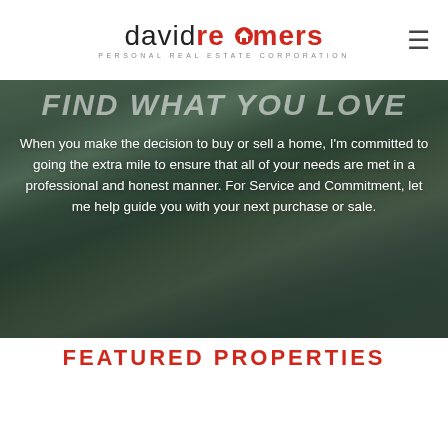[Figure (logo): David Reimers Personal Real Estate Corporation logo with red house icon]
[Figure (photo): Hero image of a luxury property with pool and landscape, dark overlay, showing partial italic heading 'Find What You Love' and body text about buying or selling a home]
When you make the decision to buy or sell a home, I'm committed to going the extra mile to ensure that all of your needs are met in a professional and honest manner. For Service and Commitment, let me help guide you with your next purchase or sale.
FEATURED PROPERTIES
partial red text at bottom (cut off)